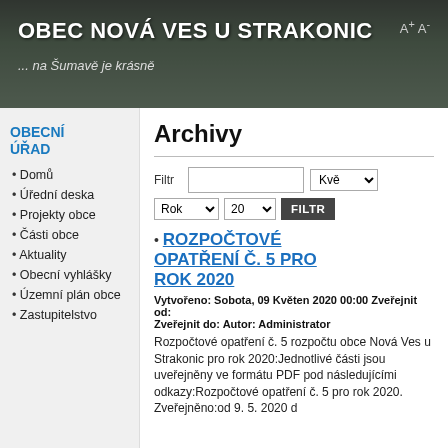OBEC NOVÁ VES U STRAKONIC ... na Šumavě je krásně
OBECNÍ ÚŘAD
Domů
Úřední deska
Projekty obce
Části obce
Aktuality
Obecní vyhlášky
Územní plán obce
Zastupitelstvo
Archivy
Filtr  Kvě  Rok  20  FILTR
ROZPOČTOVÉ OPATŘENÍ Č. 5 PRO ROK 2020
Vytvořeno: Sobota, 09 Květen 2020 00:00 Zveřejnit od: Zveřejnit do: Autor: Administrator
Rozpočtové opatření č. 5 rozpočtu obce Nová Ves u Strakonic pro rok 2020:Jednotlivé části jsou uveřejněny ve formátu PDF pod následujícími  odkazy:Rozpočtové opatření č. 5 pro rok 2020. Zveřejněno:od 9. 5. 2020 d